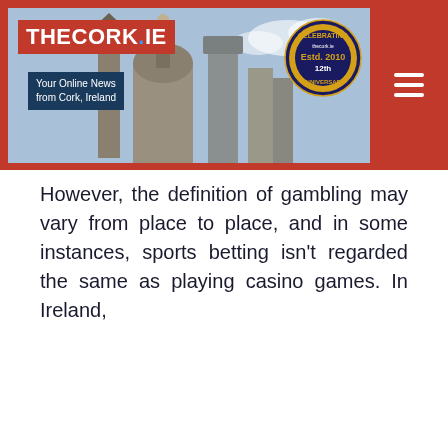[Figure (logo): TheCork.ie website header with red background, logo reading THECORK.IE with tagline 'Your Online News from Cork, Ireland', cityscape photo, and 12th Anniversary badge (Celebrating, Estd. 2010)]
However, the definition of gambling may vary from place to place, and in some instances, sports betting isn't regarded the same as playing casino games. In Ireland,